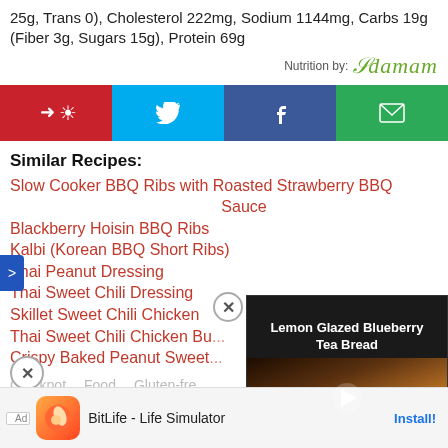25g, Trans 0), Cholesterol 222mg, Sodium 1144mg, Carbs 19g (Fiber 3g, Sugars 15g), Protein 69g
[Figure (logo): Edamam nutrition logo with script text and 'Nutrition by:' label]
[Figure (infographic): Social share bar with Pinterest (red), Twitter (blue), Facebook (dark blue), Email (green) buttons]
Similar Recipes:
Slow Cooker BBQ Ribs with Roasted Strawberry BBQ Sauce
Blackberry Hoisin BBQ Ribs
Kalbi (Korean BBQ Short Ribs)
Thai Peanut Dressing
Thai Sweet Chili Dressing
Skillet Sweet Chili Chicken
Thai Sweet Chili Chicken Bu...
Crispy Baked Peanut Sweet...
Crockpot   Food   Gluten-fre...
[Figure (screenshot): Video player overlay showing 'Lemon Glazed Blueberry Tea Bread' with dark food image and play button]
[Figure (infographic): Advertisement banner for BitLife - Life Simulator app with install button]